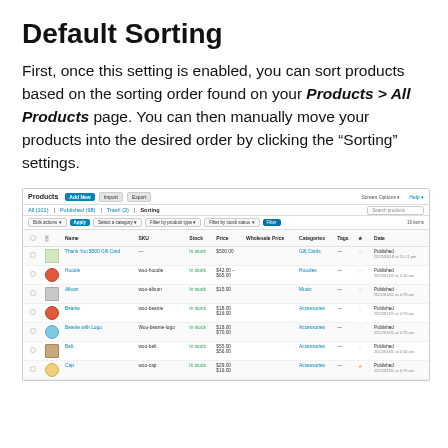Default Sorting
First, once this setting is enabled, you can sort products based on the sorting order found on your Products > All Products page. You can then manually move your products into the desired order by clicking the “Sorting” settings.
[Figure (screenshot): Screenshot of WooCommerce Products admin page showing a list of products with columns for Name, SKU, Stock, Price, Wholesale Price, Categories, Tags, and Date. Products shown include Thank You $500 Gift Card, Hoodie, Album, Beanie, Beanie with Logo, Belt, and Cap. The page is filtered showing 'Sorting' view.]